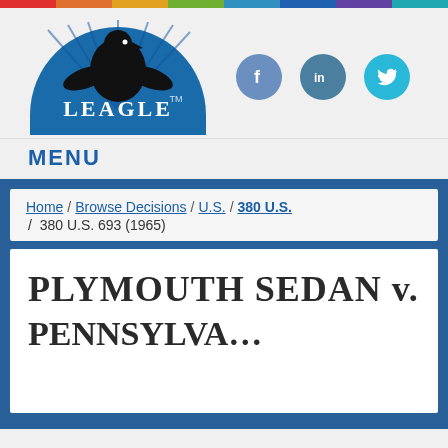[Figure (logo): Leagle.com logo — blue semicircle with eagle silhouette and 'LEAGLE TM' text in white]
[Figure (infographic): Social media icons: Facebook (blue circle with f), LinkedIn (blue circle with in), Twitter (cyan circle with bird)]
MENU
Home / Browse Decisions / U.S. / 380 U.S. / 380 U.S. 693 (1965)
PLYMOUTH SEDAN v.